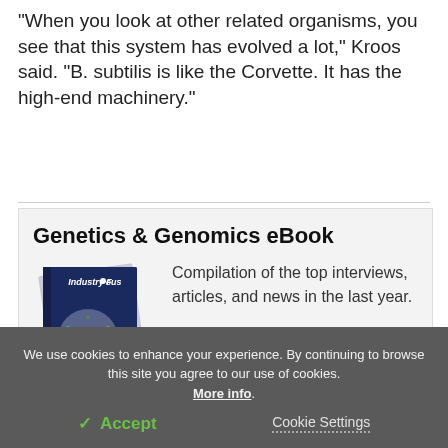"When you look at other related organisms, you see that this system has evolved a lot," Kroos said. "B. subtilis is like the Corvette. It has the high-end machinery."
Genetics & Genomics eBook
[Figure (illustration): Book cover showing 'Industry Focus: Genetics & Genomics' with a colorful molecular/network graphic on the cover]
Compilation of the top interviews, articles, and news in the last year.
We use cookies to enhance your experience. By continuing to browse this site you agree to our use of cookies. More info.
✓ Accept
Cookie Settings